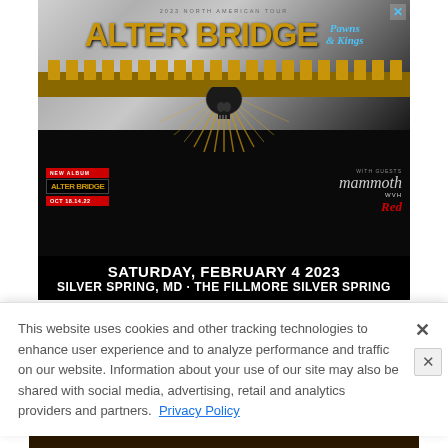[Figure (illustration): Alter Bridge 2023 North American Tour concert advertisement. Features band name 'ALTER BRIDGE' in large gold letters, subtitle 'Pawns & Kings', skull imagery with golden rays, 'NEW ALBUM ALTER BRIDGE', date OCT 18.14.22, guests mammoth WVH and RED. Event: Saturday, February 4 2023, Silver Spring, MD - The Fillmore Silver Spring.]
This website uses cookies and other tracking technologies to enhance user experience and to analyze performance and traffic on our website. Information about your use of our site may also be shared with social media, advertising, retail and analytics providers and partners. Privacy Policy
[Figure (illustration): At The Gates concert advertisement. Special anniversary North American tour. August 29, The Fillmore Silver Spring.]